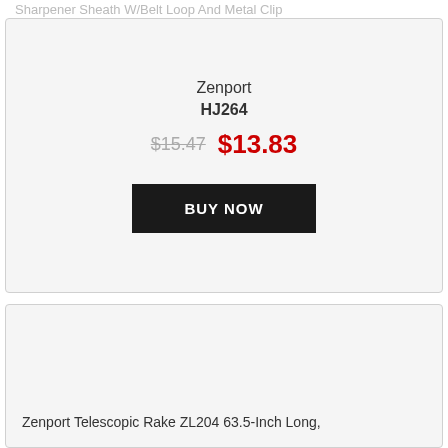Sharpener Sheath W/Belt Loop And Metal Clip
Zenport
HJ264
$15.47  $13.83
BUY NOW
[Figure (other): Product image area — light gray placeholder for a Zenport Telescopic Rake product]
Zenport Telescopic Rake ZL204 63.5-Inch Long,